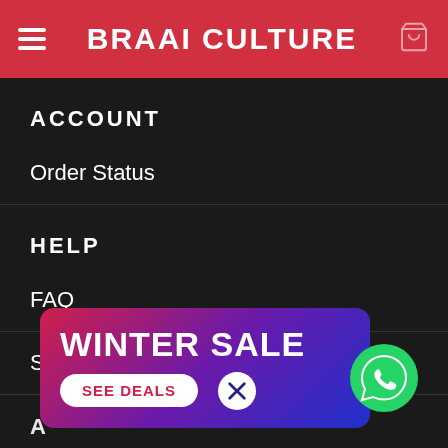BRAAI CULTURE
ACCOUNT
Order Status
HELP
FAQ
Support
[Figure (infographic): WINTER SALE banner ad with SEE DEALS button and close X button, gradient red-purple-blue background]
[Figure (logo): WhatsApp green chat icon]